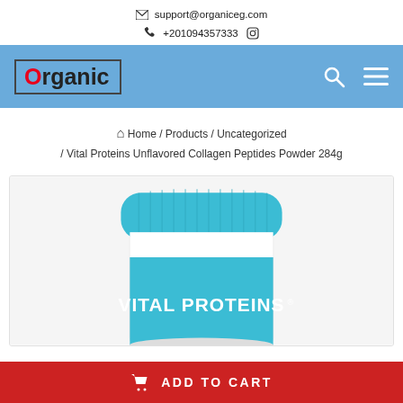support@organiceg.com
+201094357333
[Figure (logo): Organic store logo in blue navigation bar with search and menu icons]
Home / Products / Uncategorized / Vital Proteins Unflavored Collagen Peptides Powder 284g
[Figure (photo): Vital Proteins collagen powder container with blue lid and white body, showing brand name text on blue label]
ADD TO CART